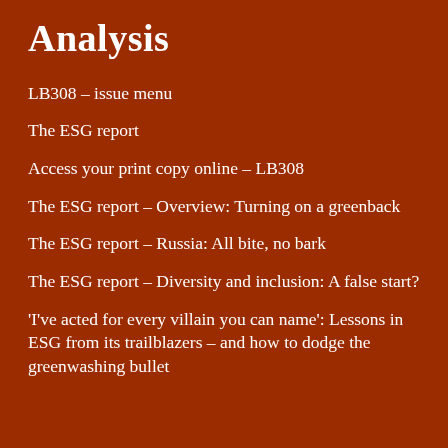Analysis
LB308 – issue menu
The ESG report
Access your print copy online – LB308
The ESG report – Overview: Turning on a greenback
The ESG report – Russia: All bite, no bark
The ESG report – Diversity and inclusion: A false start?
'I've acted for every villain you can name': Lessons in ESG from its trailblazers – and how to dodge the greenwashing bullet